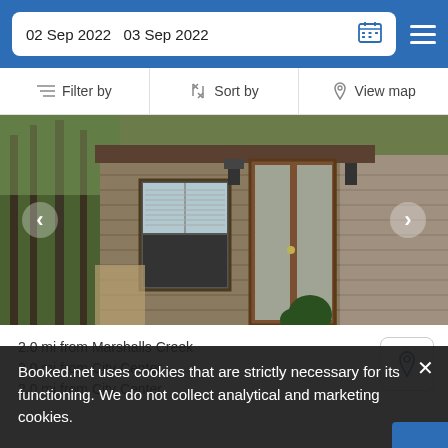02 Sep 2022   03 Sep 2022
Filter by   Sort by   View map
[Figure (photo): Exterior of a cabin/house with wooden siding, glass-panel French doors, a window with blinds, and trees in the background. Navigation arrows on left and right sides.]
2.0 mi from Marshalls Creek
2.0 mi from City Center
2.0 mi from City Center
Booked.net uses cookies that are strictly necessary for its functioning. We do not collect analytical and marketing cookies.